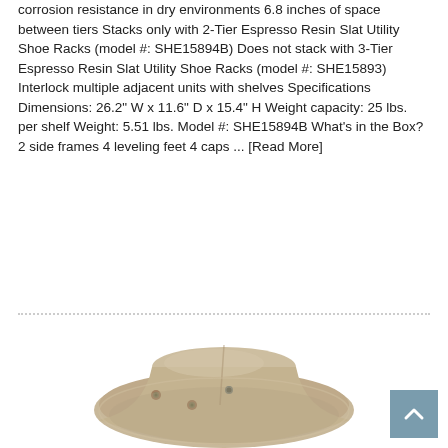corrosion resistance in dry environments 6.8 inches of space between tiers Stacks only with 2-Tier Espresso Resin Slat Utility Shoe Racks (model #: SHE15894B) Does not stack with 3-Tier Espresso Resin Slat Utility Shoe Racks (model #: SHE15893) Interlock multiple adjacent units with shelves Specifications Dimensions: 26.2" W x 11.6" D x 15.4" H Weight capacity: 25 lbs. per shelf Weight: 5.51 lbs. Model #: SHE15894B What's in the Box? 2 side frames 4 leveling feet 4 caps ... [Read More]
[Figure (photo): A tan/khaki wide-brim hat (cowboy or safari style) photographed from a slightly elevated angle, showing the top and front brim. The hat has metal grommets/eyelets on the side for ventilation and a decorative metal button on the front.]